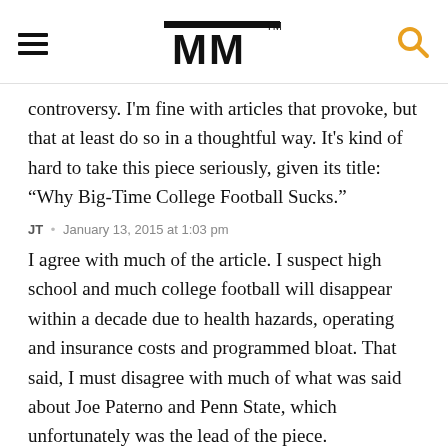MM (logo)
controversy. I'm fine with articles that provoke, but that at least do so in a thoughtful way. It's kind of hard to take this piece seriously, given its title: “Why Big-Time College Football Sucks.”
JT • January 13, 2015 at 1:03 pm
I agree with much of the article. I suspect high school and much college football will disappear within a decade due to health hazards, operating and insurance costs and programmed bloat. That said, I must disagree with much of what was said about Joe Paterno and Penn State, which unfortunately was the lead of the piece.